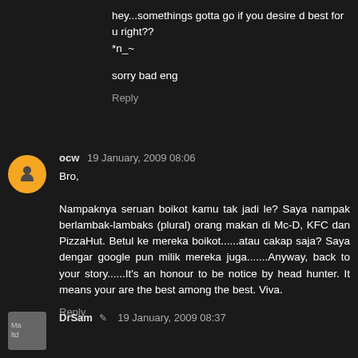hey...somethings gotta go if you desire d best for u right?? *n_~
sorry bad eng
Reply
ocw 19 January, 2009 08:06
Bro,

Nampaknya seruan boikot kamu tak jadi le? Saya nampak berlambak-lambaks (plural) orang makan di Mc-D, KFC dan PizzaHut. Betul ke mereka boikot......atau cakap saja? Saya dengar google pun milik mereka juga.......Anyway, back to your story......It's an honour to be notice by head hunter. It means your are the best among the best. Viva.
Reply
DrSam 19 January, 2009 08:37